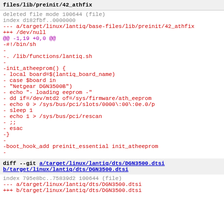files/lib/preinit/42_athfix
deleted file mode 100644 (file)
index d182fbf..0000000
--- a/target/linux/lantiq/base-files/lib/preinit/42_athfix
+++ /dev/null
@@ -1,19 +0,0 @@
-#!/bin/sh
-
-. /lib/functions/lantiq.sh
-
-init_atheeprom() {
-       local board=$(lantiq_board_name)
-       case $board in
-       "Netgear DGN3500B")
-               echo "- loading eeprom -"
-               dd if=/dev/mtd2 of=/sys/firmware/ath_eeprom
-               echo 0 > /sys/bus/pci/slots/0000\:00\:0e.0/p
-               sleep 1
-               echo 1 > /sys/bus/pci/rescan
-               ;;
-       esac
-}
-
-boot_hook_add preinit_essential init_atheeprom
-
diff --git a/target/linux/lantiq/dts/DGN3500.dtsi b/target/linux/lantiq/dts/DGN3500.dtsi
index 795e8bc..75839d2 100644 (file)
--- a/target/linux/lantiq/dts/DGN3500.dtsi
+++ b/target/linux/lantiq/dts/DGN3500.dtsi